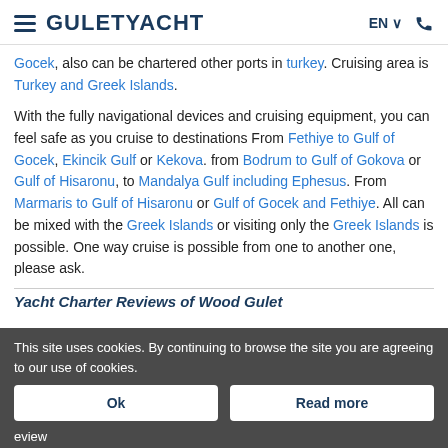GULETYACHT  EN  [phone]
Gocek, also can be chartered other ports in turkey. Cruising area is Turkey and Greek Islands.
With the fully navigational devices and cruising equipment, you can feel safe as you cruise to destinations From Fethiye to Gulf of Gocek, Ekincik Gulf or Kekova. from Bodrum to Gulf of Gokova or Gulf of Hisaronu, to Mandalya Gulf including Ephesus. From Marmaris to Gulf of Hisaronu or Gulf of Gocek and Fethiye. All can be mixed with the Greek Islands or visiting only the Greek Islands is possible. One way cruise is possible from one to another one, please ask.
Yacht Charter Reviews of Wood Gulet
This site uses cookies. By continuing to browse the site you are agreeing to our use of cookies.
Ok   Read more